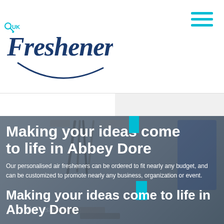[Figure (logo): UK Fresheners logo with stylized script text and swirl]
[Figure (other): Hamburger menu icon with three cyan horizontal bars]
We offer a Free quote and UK design service, get in touch today.
[Figure (other): Social media icons: Twitter, Pinterest, Google+, YouTube, Tumblr in cyan]
Making your ideas come to life in Abbey Dore
Our personalised air fresheners can be ordered to fit nearly any budget, and can be customized to promote nearly any business, organization or event.